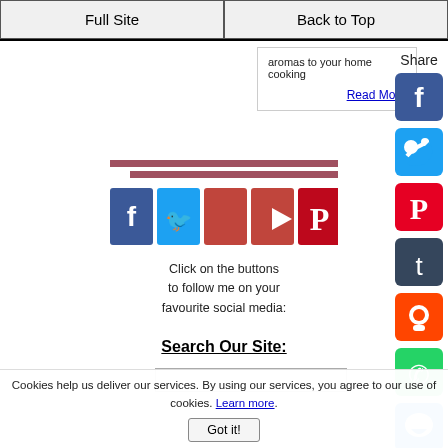Full Site | Back to Top
aromas to your home cooking
Read More
[Figure (other): Two decorative horizontal lines in dark rose/mauve color]
[Figure (other): Row of social media icons: Facebook (blue), Twitter (blue), Instagram (red/pink), YouTube (red), Pinterest (dark red)]
Click on the buttons to follow me on your favourite social media:
Search Our Site:
[Figure (other): Right sidebar with Share label and social media share icons: Facebook, Twitter, Pinterest, Tumblr, Reddit, WhatsApp, Messenger]
Cookies help us deliver our services. By using our services, you agree to our use of cookies. Learn more.
Got it!